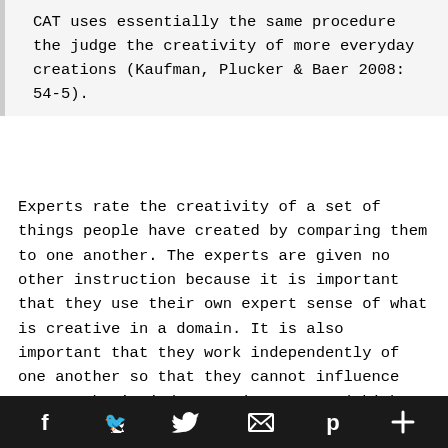CAT uses essentially the same procedure the judge the creativity of more everyday creations (Kaufman, Plucker & Baer 2008: 54-5).
Experts rate the creativity of a set of things people have created by comparing them to one another. The experts are given no other instruction because it is important that they use their own expert sense of what is creative in a domain. It is also important that they work independently of one another so that they cannot influence one another's judgments in any way (which would artificially inflate their levels of agreement). Despite working alone and without outside guidance, inter-rater reliabilities tend to be quite good, generally in the .80-.90 range (Amabile 1982, 1983, 1996, Baer, 1991,1993, 1994a, 1994b, 1994c,
f  [twitter]  [email]  p  +